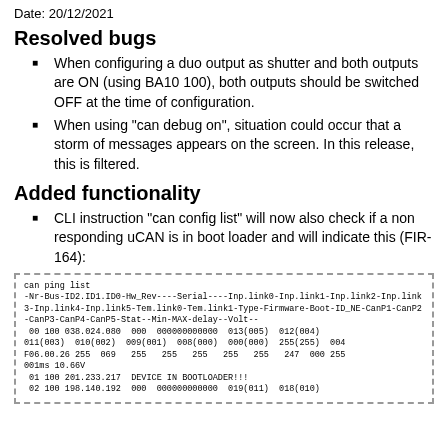Date: 20/12/2021
Resolved bugs
When configuring a duo output as shutter and both outputs are ON (using BA10 100), both outputs should be switched OFF at the time of configuration.
When using "can debug on", situation could occur that a storm of messages appears on the screen. In this release, this is filtered.
Added functionality
CLI instruction "can config list" will now also check if a non responding uCAN is in boot loader and will indicate this (FIR-164):
can ping list
-Nr-Bus-ID2.ID1.ID0-Hw_Rev----Serial----Inp.link0-Inp.link1-Inp.link2-Inp.link3-Inp.link4-Inp.link5-Tem.link0-Tem.link1-Type-Firmware-Boot-ID_NE-CanP1-CanP2-CanP3-CanP4-CanP5-Stat--Min-MAX-delay--Volt--
 00 100 038.024.080  000  000000000000  013(005)  012(004)
011(003)  010(002)  009(001)  008(000)  000(000)  255(255)  004
F06.00.26 255  069   255   255   255   255   255   247  000 255
001ms 10.66V
 01 100 201.233.217  DEVICE IN BOOTLOADER!!!
 02 100 198.140.192  000  000000000000  019(011)  018(010)